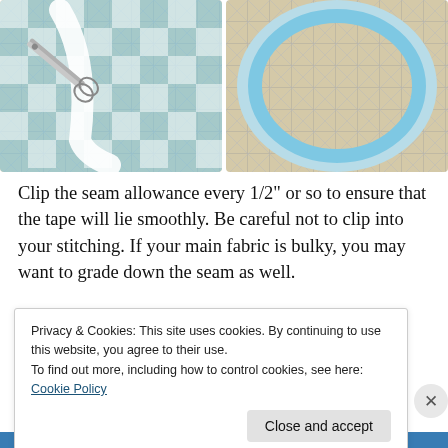[Figure (photo): Two side-by-side photos showing sewing: left image shows blue gingham fabric being cut with scissors on a gridded cutting mat; right image shows the inside of a sewn curve revealing the fabric's underside on a cutting mat.]
Clip the seam allowance every 1/2" or so to ensure that the tape will lie smoothly. Be careful not to clip into your stitching. If your main fabric is bulky, you may want to grade down the seam as well.
Privacy & Cookies: This site uses cookies. By continuing to use this website, you agree to their use.
To find out more, including how to control cookies, see here: Cookie Policy
Close and accept